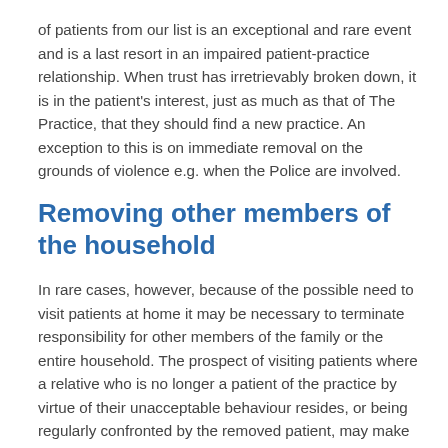of patients from our list is an exceptional and rare event and is a last resort in an impaired patient-practice relationship. When trust has irretrievably broken down, it is in the patient's interest, just as much as that of The Practice, that they should find a new practice. An exception to this is on immediate removal on the grounds of violence e.g. when the Police are involved.
Removing other members of the household
In rare cases, however, because of the possible need to visit patients at home it may be necessary to terminate responsibility for other members of the family or the entire household. The prospect of visiting patients where a relative who is no longer a patient of the practice by virtue of their unacceptable behaviour resides, or being regularly confronted by the removed patient, may make it too difficult for the practice to continue to look after the whole family. This is